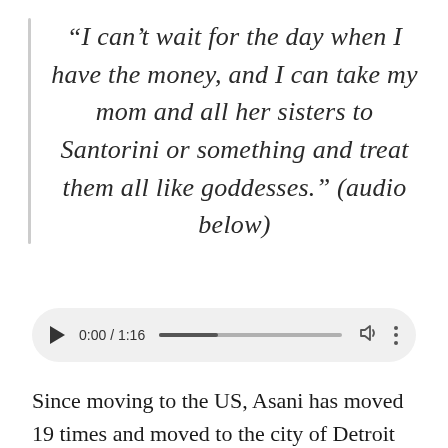“I can’t wait for the day when I have the money, and I can take my mom and all her sisters to Santorini or something and treat them all like goddesses.” (audio below)
[Figure (other): Audio player widget showing 0:00 / 1:16 with play button, progress bar, volume icon, and more options icon]
Since moving to the US, Asani has moved 19 times and moved to the city of Detroit when she started dental school in 2015. Asani says a